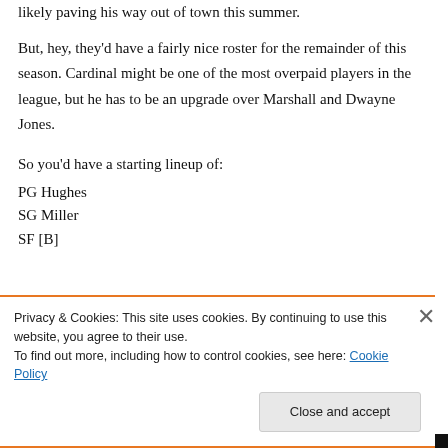likely paving his way out of town this summer.
But, hey, they’d have a fairly nice roster for the remainder of this season. Cardinal might be one of the most overpaid players in the league, but he has to be an upgrade over Marshall and Dwayne Jones.
So you’d have a starting lineup of:
PG Hughes
SG Miller
SF [B]
Privacy & Cookies: This site uses cookies. By continuing to use this website, you agree to their use.
To find out more, including how to control cookies, see here: Cookie Policy